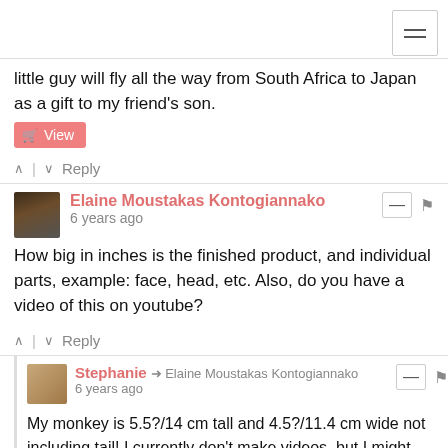[Figure (screenshot): Hamburger menu button in top-right corner]
little guy will fly all the way from South Africa to Japan as a gift to my friend's son.
[Figure (other): Pink View button with cart icon]
^ | v Reply
Elaine Moustakas Kontogiannako
6 years ago
How big in inches is the finished product, and individual parts, example: face, head, etc. Also, do you have a video of this on youtube?
^ | v Reply
Stephanie → Elaine Moustakas Kontogiannako
6 years ago
My monkey is 5.5?/14 cm tall and 4.5?/11.4 cm wide not including tail! I currently don't make videos, but I might possibly in the future!
^ | v 1 Reply